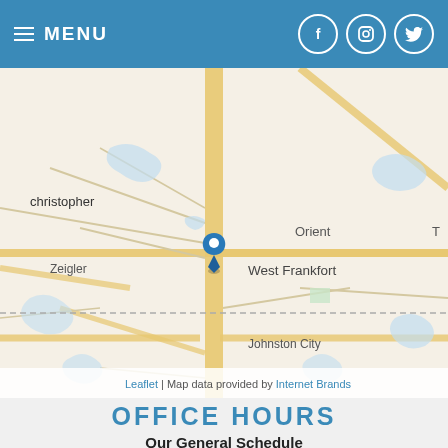MENU
[Figure (map): Road map centered on West Frankfort, Illinois, showing surrounding areas including Orient, Zeigler, Christopher, Johnston City, with a blue map pin marker on West Frankfort. Map attribution: Leaflet | Map data provided by Internet Brands.]
OFFICE HOURS
Our General Schedule